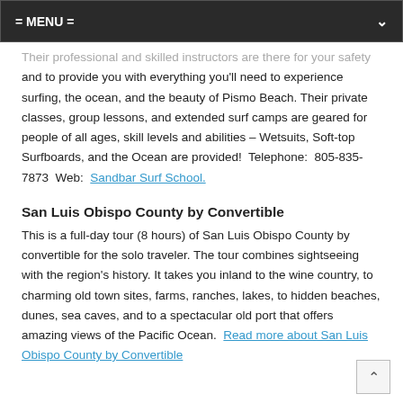= MENU =
Their professional and skilled instructors are there for your safety and to provide you with everything you'll need to experience surfing, the ocean, and the beauty of Pismo Beach. Their private classes, group lessons, and extended surf camps are geared for people of all ages, skill levels and abilities – Wetsuits, Soft-top Surfboards, and the Ocean are provided!  Telephone:  805-835-7873  Web:  Sandbar Surf School.
San Luis Obispo County by Convertible
This is a full-day tour (8 hours) of San Luis Obispo County by convertible for the solo traveler. The tour combines sightseeing with the region's history. It takes you inland to the wine country, to charming old town sites, farms, ranches, lakes, to hidden beaches, dunes, sea caves, and to a spectacular old port that offers amazing views of the Pacific Ocean.  Read more about San Luis Obispo County by Convertible